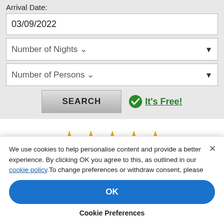Arrival Date:
03/09/2022
Number of Nights
Number of Persons
SEARCH
It's Free!
[Figure (infographic): Five gold stars rating display]
73.761 Guests Rating: 5 Stars
BEST PRICE GUARANTEED
We use cookies to help personalise content and provide a better experience. By clicking OK you agree to this, as outlined in our cookie policy.To change preferences or withdraw consent, please
OK
Cookie Preferences